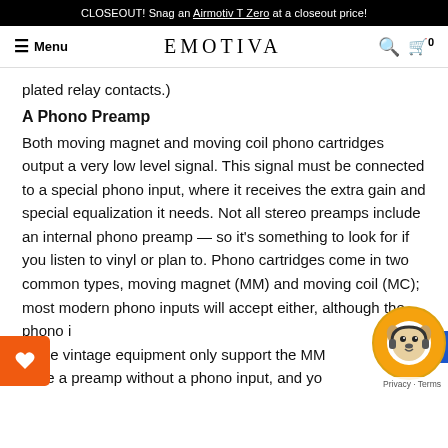CLOSEOUT! Snag an Airmotiv T Zero at a closeout price!
Menu | EMOTIVA | Search | Cart 0
plated relay contacts.)
A Phono Preamp
Both moving magnet and moving coil phono cartridges output a very low level signal. This signal must be connected to a special phono input, where it receives the extra gain and special equalization it needs. Not all stereo preamps include an internal phono preamp — so it's something to look for if you listen to vinyl or plan to. Phono cartridges come in two common types, moving magnet (MM) and moving coil (MC); most modern phono inputs will accept either, although the phono in some vintage equipment only support the MM have a preamp without a phono input, and yo
[Figure (illustration): Orange circular chat widget with dog/headphone mascot logo]
[Figure (illustration): Orange wishlist heart button on left edge]
[Figure (illustration): Blue arrow/tab on right edge]